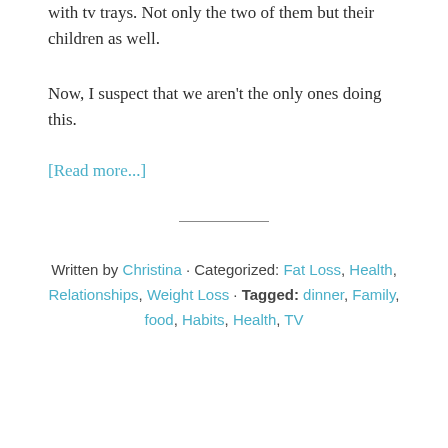with tv trays. Not only the two of them but their children as well.
Now, I suspect that we aren't the only ones doing this.
[Read more...]
Written by Christina · Categorized: Fat Loss, Health, Relationships, Weight Loss · Tagged: dinner, Family, food, Habits, Health, TV